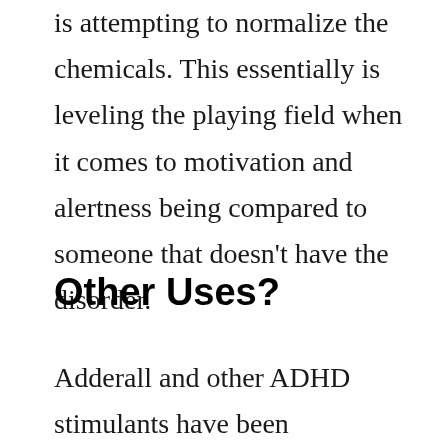is attempting to normalize the chemicals. This essentially is leveling the playing field when it comes to motivation and alertness being compared to someone that doesn't have the disorder.
Other Uses?
Adderall and other ADHD stimulants have been repurposed by many people over the